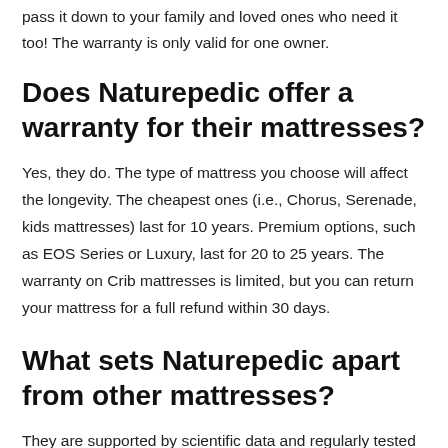pass it down to your family and loved ones who need it too! The warranty is only valid for one owner.
Does Naturepedic offer a warranty for their mattresses?
Yes, they do. The type of mattress you choose will affect the longevity. The cheapest ones (i.e., Chorus, Serenade, kids mattresses) last for 10 years. Premium options, such as EOS Series or Luxury, last for 20 to 25 years. The warranty on Crib mattresses is limited, but you can return your mattress for a full refund within 30 days.
What sets Naturepedic apart from other mattresses?
They are supported by scientific data and regularly tested for chemical emission. Like in their crib mattresses, they are